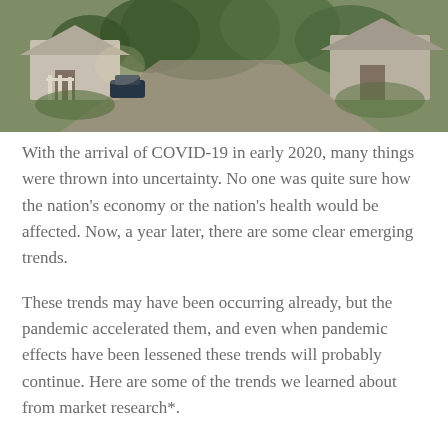[Figure (photo): Aerial or wide-angle photograph of a residential neighborhood street showing houses, trees, driveways, and parked cars from an elevated perspective.]
With the arrival of COVID-19 in early 2020, many things were thrown into uncertainty. No one was quite sure how the nation's economy or the nation's health would be affected. Now, a year later, there are some clear emerging trends.
These trends may have been occurring already, but the pandemic accelerated them, and even when pandemic effects have been lessened these trends will probably continue. Here are some of the trends we learned about from market research*.